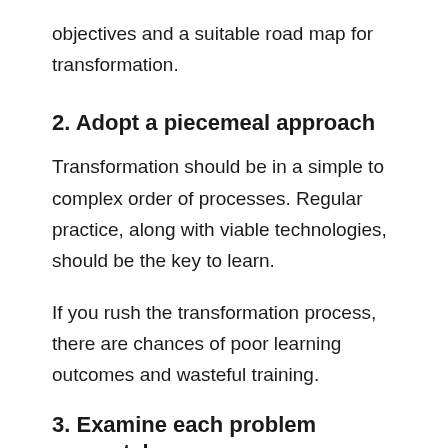objectives and a suitable road map for transformation.
2. Adopt a piecemeal approach
Transformation should be in a simple to complex order of processes. Regular practice, along with viable technologies, should be the key to learn.
If you rush the transformation process, there are chances of poor learning outcomes and wasteful training.
3. Examine each problem separately